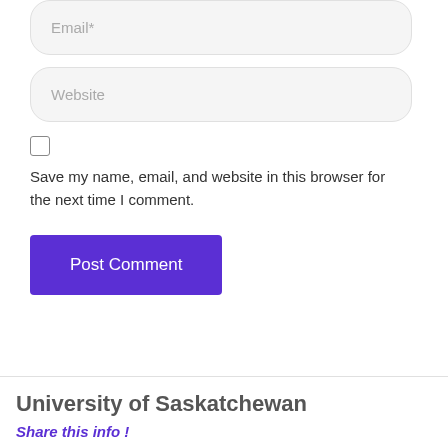Email*
Website
Save my name, email, and website in this browser for the next time I comment.
Post Comment
University of Saskatchewan
Share this info !